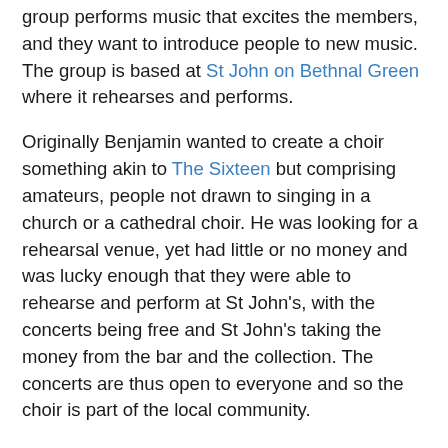group performs music that excites the members, and they want to introduce people to new music. The group is based at St John on Bethnal Green where it rehearses and performs.
Originally Benjamin wanted to create a choir something akin to The Sixteen but comprising amateurs, people not drawn to singing in a church or a cathedral choir. He was looking for a rehearsal venue, yet had little or no money and was lucky enough that they were able to rehearse and perform at St John's, with the concerts being free and St John's taking the money from the bar and the collection. The concerts are thus open to everyone and so the choir is part of the local community.
Lumen is not a big group, it started with eight singers, then grew to 12 and is now 16. Size does not matter to Benjamin so much as the quality of the singers, and that they enjoy it. Benjamin feels that in some ways the smaller group is more approachable to its audiences than a larger one, and with 16 singers they bring out the layers and textures of the music. And if the group occasionally overstretches itself, the singers